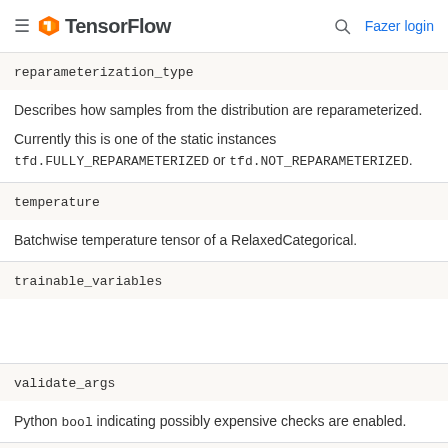TensorFlow — Fazer login
reparameterization_type
Describes how samples from the distribution are reparameterized.

Currently this is one of the static instances tfd.FULLY_REPARAMETERIZED or tfd.NOT_REPARAMETERIZED.
temperature
Batchwise temperature tensor of a RelaxedCategorical.
trainable_variables
validate_args
Python bool indicating possibly expensive checks are enabled.
variables